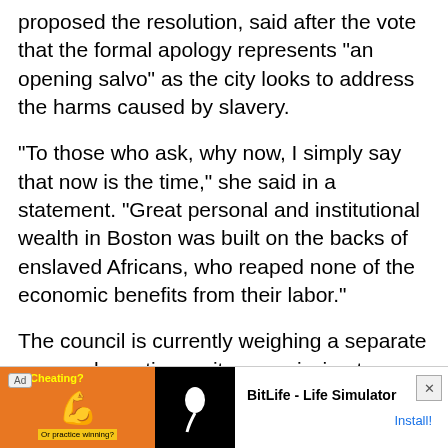proposed the resolution, said after the vote that the formal apology represents “an opening salvo” as the city looks to address the harms caused by slavery.
“To those who ask, why now, I simply say that now is the time,” she said in a statement. “Great personal and institutional wealth in Boston was built on the backs of enslaved Africans, who reaped none of the economic benefits from their labor.”
The council is currently weighing a separate proposal creating a city commission to weigh reparations for Boston’s Black community.
[Figure (other): Advertisement overlay: BitLife - Life Simulator app ad with orange background showing muscle emoji and BitLife logo, with Install button]